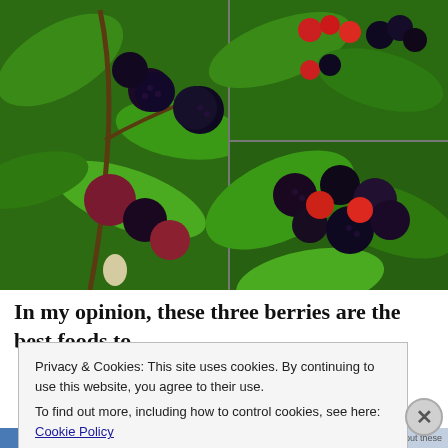[Figure (photo): Collage of three photos showing mulberry fruits in various stages of ripeness (white, red, and black/dark purple) on branches with green leaves. Left: large photo of mulberry cluster. Top right: cluster with red and black berries. Bottom right: closeup of dark purple, red, and transitioning berries.]
In my opinion, these three berries are the best foods to
Privacy & Cookies: This site uses cookies. By continuing to use this website, you agree to their use.
To find out more, including how to control cookies, see here: Cookie Policy
Close and accept